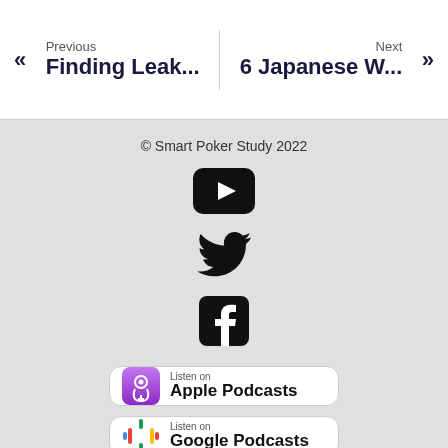Previous: Finding Leak... | Next: 6 Japanese W...
© Smart Poker Study 2022
[Figure (logo): YouTube icon (black rounded rectangle with white play triangle)]
[Figure (logo): Twitter bird icon (black)]
[Figure (logo): Facebook icon (black rounded square with white F)]
[Figure (logo): Listen on Apple Podcasts badge with purple podcast icon]
[Figure (logo): Listen on Google Podcasts badge with colored bars icon]